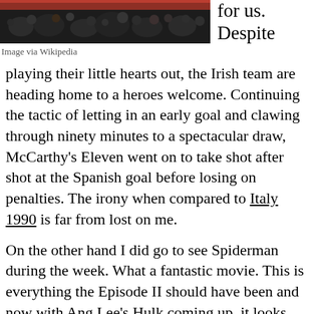[Figure (photo): Dark photograph showing people seated at what appears to a sporting event or stadium, viewed from behind, with athletic track visible at top.]
Image via Wikipedia
for us. Despite playing their little hearts out, the Irish team are heading home to a heroes welcome. Continuing the tactic of letting in an early goal and clawing through ninety minutes to a spectacular draw, McCarthy's Eleven went on to take shot after shot at the Spanish goal before losing on penalties. The irony when compared to Italy 1990 is far from lost on me.
On the other hand I did go to see Spiderman during the week. What a fantastic movie. This is everything the Episode II should have been and now with Ang Lee's Hulk coming up, it looks like it's going to be a good year for comic book fans.
Another hint: Check out The Libertines. I saw them